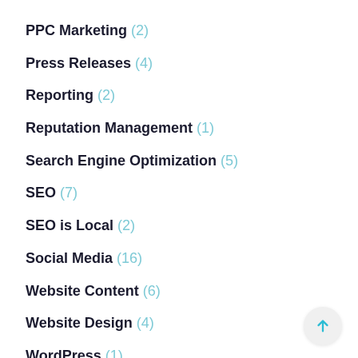PPC Marketing (2)
Press Releases (4)
Reporting (2)
Reputation Management (1)
Search Engine Optimization (5)
SEO (7)
SEO is Local (2)
Social Media (16)
Website Content (6)
Website Design (4)
WordPress (1)
YouTube (1)